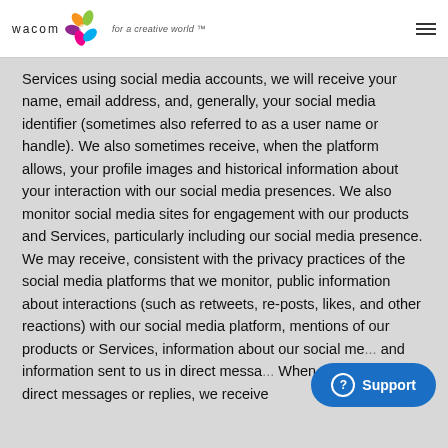wacom for a creative world™
Services using social media accounts, we will receive your name, email address, and, generally, your social media identifier (sometimes also referred to as a user name or handle). We also sometimes receive, when the platform allows, your profile images and historical information about your interaction with our social media presences. We also monitor social media sites for engagement with our products and Services, particularly including our social media presence. We may receive, consistent with the privacy practices of the social media platforms that we monitor, public information about interactions (such as retweets, re-posts, likes, and other reactions) with our social media platform, mentions of our products or Services, information about our social me... and information sent to us in direct messa... When you send us direct messages or replies, we receive